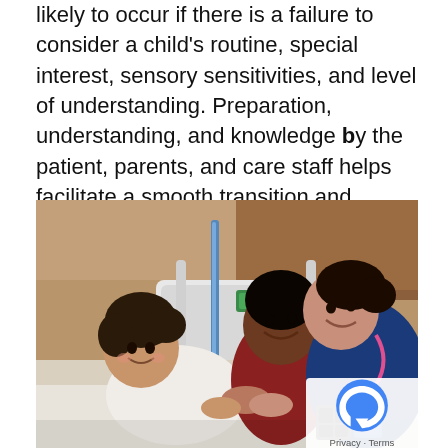likely to occur if there is a failure to consider a child's routine, special interest, sensory sensitivities, and level of understanding. Preparation, understanding, and knowledge by the patient, parents, and care staff helps facilitate a smooth transition and ultimately a beneficial outcome.
[Figure (photo): A young girl lying in a hospital bed smiling, with a man (father) leaning over and a female nurse in blue scrubs with a pink stethoscope leaning in to interact with the child. Hospital room setting.]